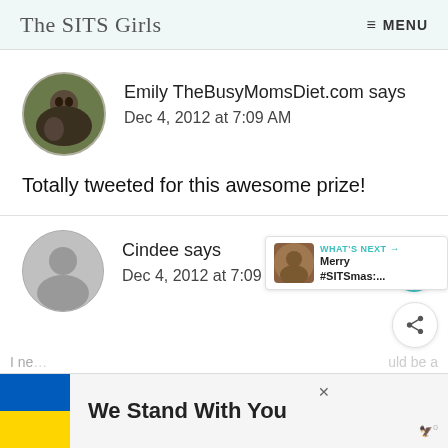The SITS Girls   ≡ MENU
Emily TheBusyMomsDiet.com says
Dec 4, 2012 at 7:09 AM
Totally tweeted for this awesome prize!
Cindee says
Dec 4, 2012 at 7:09 AM
[Figure (screenshot): WHAT'S NEXT → Merry #SITSmas:....]
We Stand With You